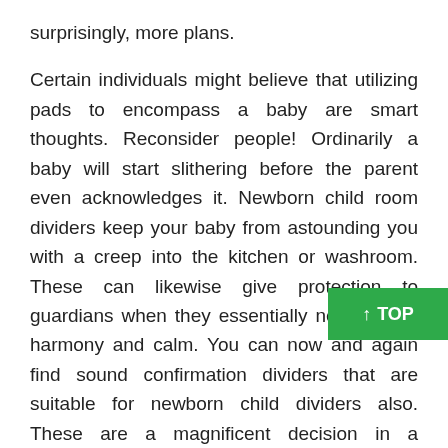surprisingly, more plans.
Certain individuals might believe that utilizing pads to encompass a baby are smart thoughts. Reconsider people! Ordinarily a baby will start slithering before the parent even acknowledges it. Newborn child room dividers keep your baby from astounding you with a creep into the kitchen or washroom. These can likewise give protection to guardians when they essentially need a little harmony and calm. You can now and again find sound confirmation dividers that are suitable for newborn child dividers also. These are a magnificent decision in a youngster's space to assist with engrossing the clamors of kids playing.